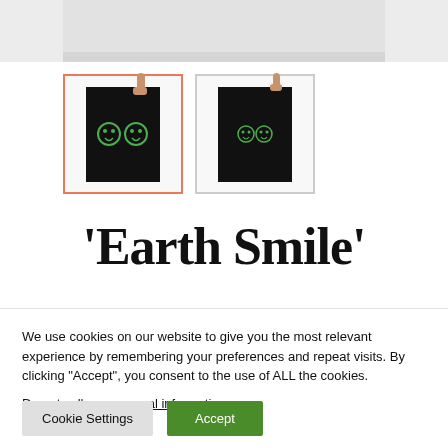[Figure (photo): Top portion of a product photo showing a black card/tablet on a white background, partially cropped]
[Figure (photo): Two product thumbnails: first selected with orange border showing a black card with green smiley face emoji icons held by a hand; second unselected with gray border showing a similar product]
‘Earth Smile’
We use cookies on our website to give you the most relevant experience by remembering your preferences and repeat visits. By clicking “Accept”, you consent to the use of ALL the cookies.
Do not sell my personal information.